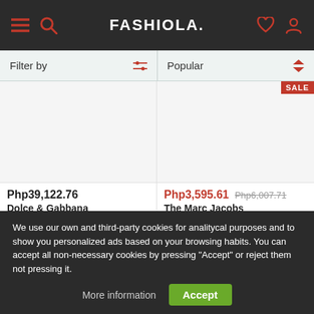FASHIOLA.
Filter by | Popular
[Figure (screenshot): Product image area left - empty product photo area for Dolce & Gabbana item]
Php39,122.76
Dolce & Gabbana
Padded logo-patch shirt c...
[Figure (screenshot): Product image area right - empty product photo area for The Marc Jacobs item with SALE badge]
Php3,595.61  Php6,007.71
The Marc Jacobs
All-over logo print twill ov...
[Figure (screenshot): Empty product cell bottom left]
[Figure (screenshot): Empty product cell bottom right]
We use our own and third-party cookies for analitycal purposes and to show you personalized ads based on your browsing habits. You can accept all non-necessary cookies by pressing "Accept" or reject them not pressing it.
More information
Accept